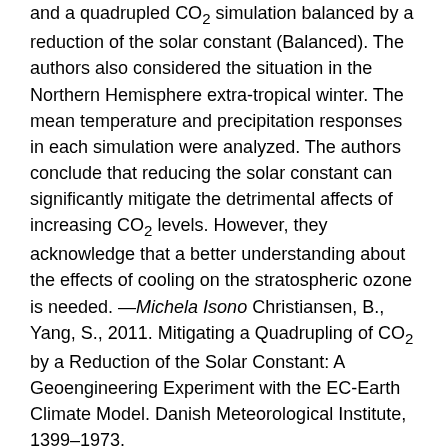and a quadrupled CO₂ simulation balanced by a reduction of the solar constant (Balanced). The authors also considered the situation in the Northern Hemisphere extra-tropical winter. The mean temperature and precipitation responses in each simulation were analyzed. The authors conclude that reducing the solar constant can significantly mitigate the detrimental affects of increasing CO₂ levels. However, they acknowledge that a better understanding about the effects of cooling on the stratospheric ozone is needed. —Michela Isono Christiansen, B., Yang, S., 2011. Mitigating a Quadrupling of CO₂ by a Reduction of the Solar Constant: A Geoengineering Experiment with the EC-Earth Climate Model. Danish Meteorological Institute, 1399–1973.
Background
The solar radiation constant is a measure of the amount of incoming solar electromagnetic radiation per unit area. The experiment lasted for 50 years and the second 25 years are used for analysis purposes. A reduction of the solar constant of 56 W/m² was used. This value was derived from the equation ΔE = (1-α)(ΔAS